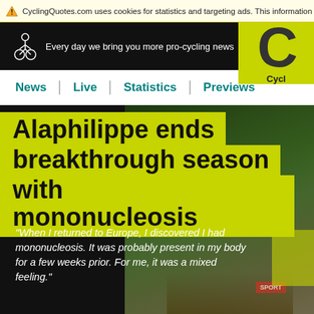CyclingQuotes.com uses cookies for statistics and targeting ads. This information is shared with
[Figure (screenshot): CyclingQuotes.com website header with bicycle logo, tagline 'Every day we bring you more pro-cycling news', navigation bar with News, Live, Statistics, Previews links, and yellow-green CyclingQuotes logo circle on right]
Alaphilippe ends breakthrough season with mononucleosis
"When I returned to Europe, I discovered I had mononucleosis. It was probably present in my body for a few weeks prior. For me, it was a mixed feeling."